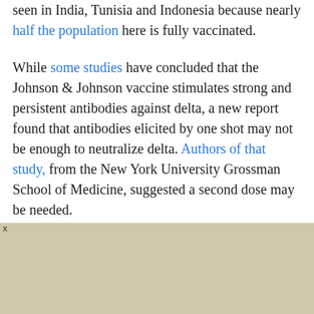seen in India, Tunisia and Indonesia because nearly half the population here is fully vaccinated.
While some studies have concluded that the Johnson & Johnson vaccine stimulates strong and persistent antibodies against delta, a new report found that antibodies elicited by one shot may not be enough to neutralize delta. Authors of that study, from the New York University Grossman School of Medicine, suggested a second dose may be needed.